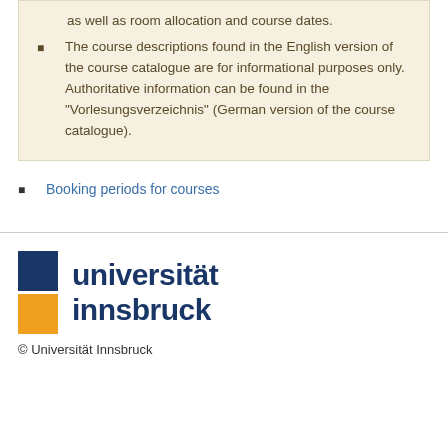as well as room allocation and course dates.
The course descriptions found in the English version of the course catalogue are for informational purposes only. Authoritative information can be found in the "Vorlesungsverzeichnis" (German version of the course catalogue).
Booking periods for courses
[Figure (logo): Universität Innsbruck logo with blue and orange squares and text]
© Universität Innsbruck